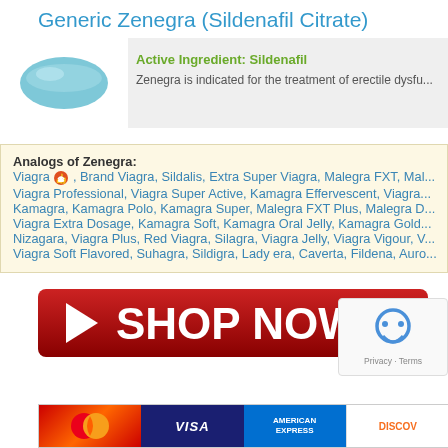Generic Zenegra (Sildenafil Citrate)
[Figure (illustration): Blue oval pill/tablet illustration]
Active Ingredient: Sildenafil
Zenegra is indicated for the treatment of erectile dysfu...
Analogs of Zenegra:
Viagra, Brand Viagra, Sildalis, Extra Super Viagra, Malegra FXT, Mal...
Viagra Professional, Viagra Super Active, Kamagra Effervescent, Viagra...
Kamagra, Kamagra Polo, Kamagra Super, Malegra FXT Plus, Malegra D...
Viagra Extra Dosage, Kamagra Soft, Kamagra Oral Jelly, Kamagra Gold...
Nizagara, Viagra Plus, Red Viagra, Silagra, Viagra Jelly, Viagra Vigour, V...
Viagra Soft Flavored, Suhagra, Sildigra, Lady era, Caverta, Fildena, Auro...
[Figure (infographic): Red SHOP NOW button with play arrow]
[Figure (infographic): reCAPTCHA privacy box]
[Figure (infographic): Payment methods bar: Mastercard, Visa, American Express, Discover]